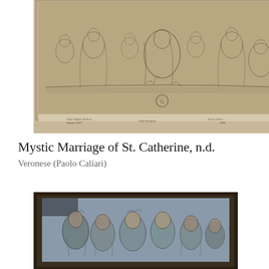[Figure (illustration): A pencil/ink sketch drawing depicting the Mystic Marriage of St. Catherine, showing multiple robed figures in a classical composition. Handwritten inscriptions at the bottom read: 'Paul Caliari di Veris Verona 1677', 'Paul Veronese', and 'died at Venice 1888'. A circular monogram stamp is visible at center bottom.]
Mystic Marriage of St. Catherine, n.d.
Veronese (Paolo Caliari)
[Figure (illustration): A sketch or drawing on blue-gray paper showing a group of figures including several faces and upper bodies, rendered in a classical style.]